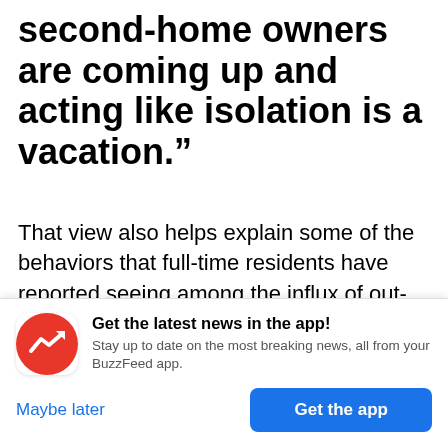second-home owners are coming up and acting like isolation is a vacation."
That view also helps explain some of the behaviors that full-time residents have reported seeing among the influx of out-of-towners. “They’re not respecting the locals who are desperately trying to maintain guidelines when grocery shopping or getting out for exercise. They’re strolling the aisles in outdoor gear, casually grabbing something for
[Figure (infographic): BuzzFeed app promotional banner with red circular logo containing white trending arrow icon, text 'Get the latest news in the app! Stay up to date on the most breaking news, all from your BuzzFeed app.' with 'Maybe later' and 'Get the app' buttons.]